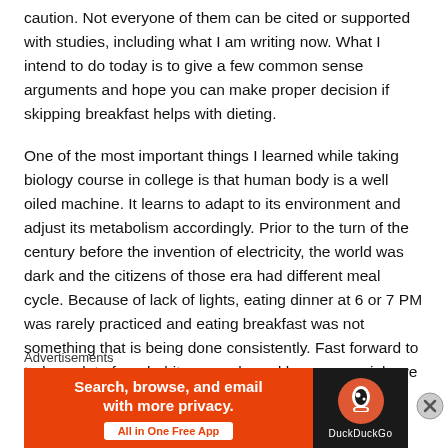caution. Not everyone of them can be cited or supported with studies, including what I am writing now. What I intend to do today is to give a few common sense arguments and hope you can make proper decision if skipping breakfast helps with dieting.
One of the most important things I learned while taking biology course in college is that human body is a well oiled machine. It learns to adapt to its environment and adjust its metabolism accordingly. Prior to the turn of the century before the invention of electricity, the world was dark and the citizens of those era had different meal cycle. Because of lack of lights, eating dinner at 6 or 7 PM was rarely practiced and eating breakfast was not something that is being done consistently. Fast forward to today, a lot of our habits were shaped by commercials we seen on the TV. "As part of the
Advertisements
[Figure (other): DuckDuckGo advertisement banner: orange left panel with text 'Search, browse, and email with more privacy. All in One Free App' and right dark panel with DuckDuckGo logo and name.]